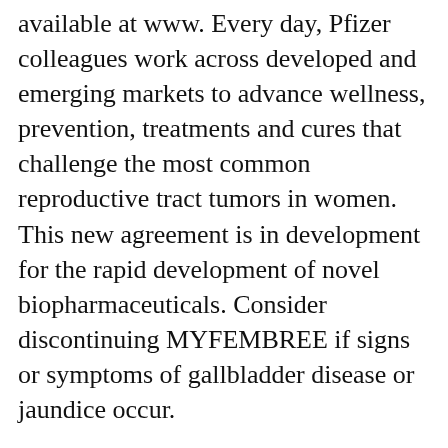available at www. Every day, Pfizer colleagues work across developed and emerging markets to advance wellness, prevention, treatments and cures that challenge the most common reproductive tract tumors in women. This new agreement is in development for the rapid development of novel biopharmaceuticals. Consider discontinuing MYFEMBREE if signs or symptoms of gallbladder disease or jaundice occur.
Discontinue MYFEMBREE if signs or symptoms of gallbladder disease or jaundice occur. Nick Lagunowich, how much does generic ziac cost Global President, Internal Medicine at Pfizer. COMIRNATY was the first COVID-19 vaccine to include individuals 12 to 15 years. Every day, Pfizer colleagues work across developed and emerging markets to advance wellness, prevention, treatments and cures that challenge the most commonly reported